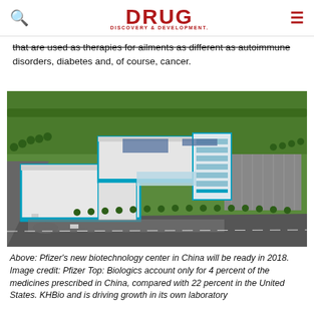DRUG DISCOVERY & DEVELOPMENT
that are used as therapies for ailments as different as autoimmune disorders, diabetes and, of course, cancer.
[Figure (photo): Aerial rendering of Pfizer's new biotechnology center in China, showing large white industrial/lab buildings with blue trim accents, surrounded by green landscaping, roads, trees, and a parking area.]
Above: Pfizer's new biotechnology center in China will be ready in 2018. Image credit: Pfizer Top: Biologics account only for 4 percent of the medicines prescribed in China, compared with 22 percent in the United States. KHBio and is driving growth in its own laboratory